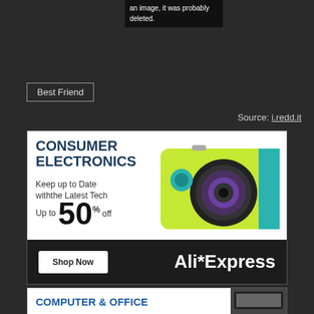[Figure (screenshot): Deleted image placeholder with text about an image being probably deleted]
Best Friend
Source: i.redd.it
[Figure (infographic): AliExpress Consumer Electronics advertisement. Text: CONSUMER ELECTRONICS, Keep up to Date withthe Latest Tech, Up to 50% off. Features a yellow/green action camera. Shop Now button and AliExpress logo at bottom.]
[Figure (infographic): AliExpress Computer & Office advertisement (partial view at bottom of page)]